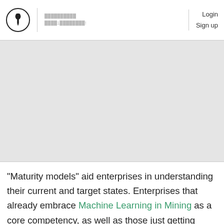Login Sign up
[Figure (photo): Gray placeholder image area representing a document cover or article image]
"Maturity models" aid enterprises in understanding their current and target states. Enterprises that already embrace Machine Learning in Mining as a core competency, as well as those just getting started, often